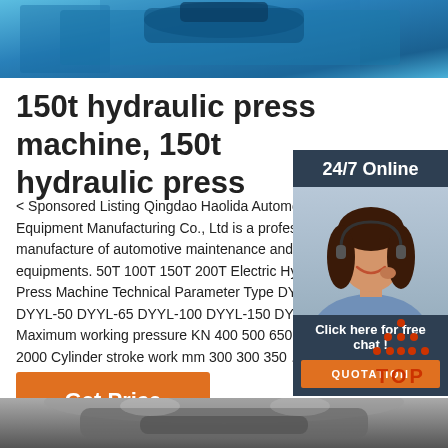[Figure (photo): Blue hydraulic press machine top view, partial crop at top of page]
150t hydraulic press machine, 150t hydraulic press
< Sponsored Listing Qingdao Haolida Automotive Equipment Manufacturing Co., Ltd is a professional manufacture of automotive maintenance and testing equipments. 50T 100T 150T 200T Electric Hydraulic Press Machine Technical Parameter Type DYYL-30 DYYL-50 DYYL-65 DYYL-100 DYYL-150 DYYL-200 Maximum working pressure KN 400 500 650 1000 1500 2000 Cylinder stroke work mm 300 300 350 ...
[Figure (photo): Customer service representative woman with headset, sidebar widget]
24/7 Online
Click here for free chat !
QUOTATION
Get Price
[Figure (logo): TOP icon with orange dots arranged in triangle above orange TOP text]
[Figure (photo): Industrial machinery interior, partial crop at bottom of page]